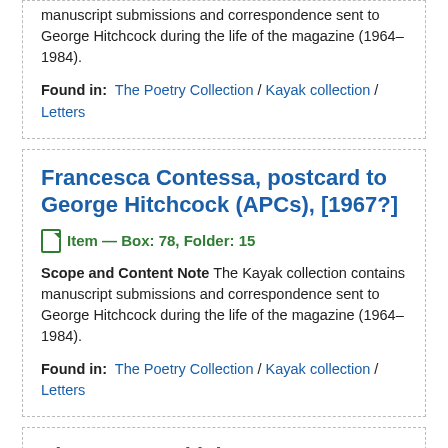manuscript submissions and correspondence sent to George Hitchcock during the life of the magazine (1964–1984).
Found in: The Poetry Collection / Kayak collection / Letters
Francesca Contessa, postcard to George Hitchcock (APCs), [1967?]
Item — Box: 78, Folder: 15
Scope and Content Note The Kayak collection contains manuscript submissions and correspondence sent to George Hitchcock during the life of the magazine (1964–1984).
Found in: The Poetry Collection / Kayak collection / Letters
Victor Contoski, letters to George